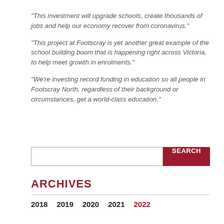“This investment will upgrade schools, create thousands of jobs and help our economy recover from coronavirus.”
“This project at Footscray is yet another great example of the school building boom that is happening right across Victoria, to help meet growth in enrolments.”
“We’re investing record funding in education so all people in Footscray North, regardless of their background or circumstances, get a world-class education.”
ARCHIVES
2018  2019  2020  2021  2022